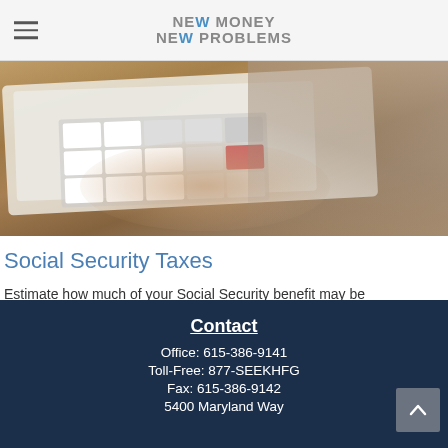NEW MONEY NEW PROBLEMS
[Figure (photo): Close-up photo of a person's hands using a calculator on a wooden desk with papers and documents nearby, wearing a knitted hat.]
Social Security Taxes
Estimate how much of your Social Security benefit may be considered taxable.
Contact
Office: 615-386-9141
Toll-Free: 877-SEEKHFG
Fax: 615-386-9142
5400 Maryland Way